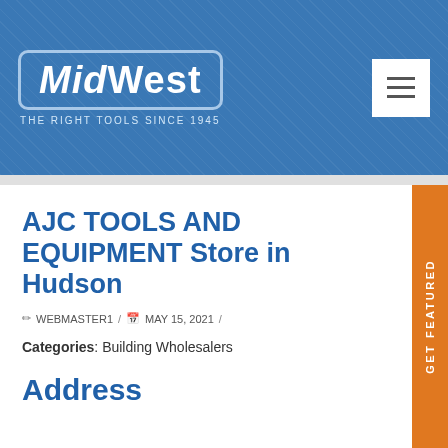MidWest — THE RIGHT TOOLS SINCE 1945
AJC TOOLS AND EQUIPMENT Store in Hudson
WEBMASTER1 / MAY 15, 2021 /
Categories: Building Wholesalers
Address